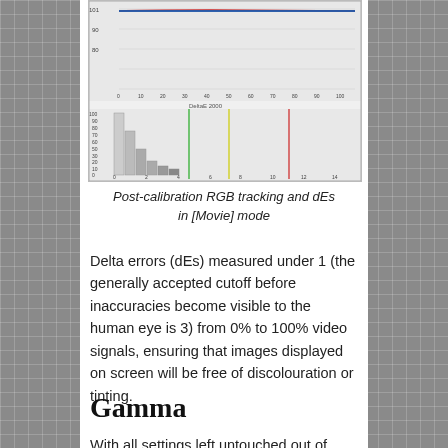[Figure (continuous-plot): Post-calibration RGB tracking chart (top panel showing RGB lines near 100 from 0–100% stimulus) and dEs histogram (bottom panel showing deltaE 2000 values, bars concentrated near 0–2, with colored vertical lines at various percentages) in [Movie] mode]
Post-calibration RGB tracking and dEs in [Movie] mode
Delta errors (dEs) measured under 1 (the generally accepted cutoff before inaccuracies become visible to the human eye is 3) from 0% to 100% video signals, ensuring that images displayed on screen will be free of discolouration or tinting.
Gamma
With all settings left untouched out of